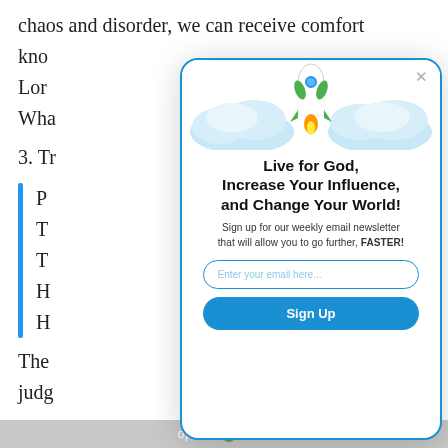chaos and disorder, we can receive comfort knowing that the Lord...
What...
3. Tr...
The... judg... rewa... God who sees all.
[Figure (screenshot): Popup modal with rocket and clouds illustration, email signup form for OptinMonster newsletter]
Live for God, Increase Your Influence, and Change Your World!
Sign up for our weekly email newsletter that will allow you to go further, FASTER!
optinmonster